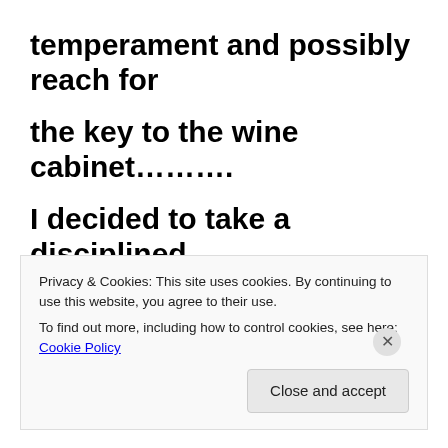temperament and possibly reach for the key to the wine cabinet……….. I decided to take a disciplined approach and research the demographics of his chosen
Privacy & Cookies: This site uses cookies. By continuing to use this website, you agree to their use.
To find out more, including how to control cookies, see here: Cookie Policy
Close and accept